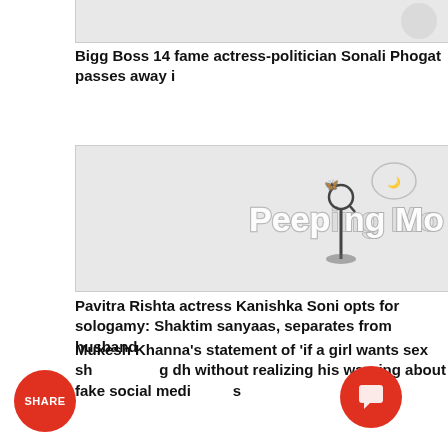[Figure (screenshot): Truncated top of an article card showing partial image on grey background]
Bigg Boss 14 fame actress-politician Sonali Phogat passes away i
[Figure (logo): Peeping Moon logo on grey article card background]
Pavitra Rishta actress Kanishka Soni opts for sologamy: Shaktim sanyaas, separates from husband
[Figure (logo): Peeping Moon logo on grey article card background with SHARE button overlay]
Mukesh Khanna's statement of 'if a girl wants sex sh g dh without realizing his warning about fake social medi s
[Figure (screenshot): Bottom truncated article card with partial logo visible]